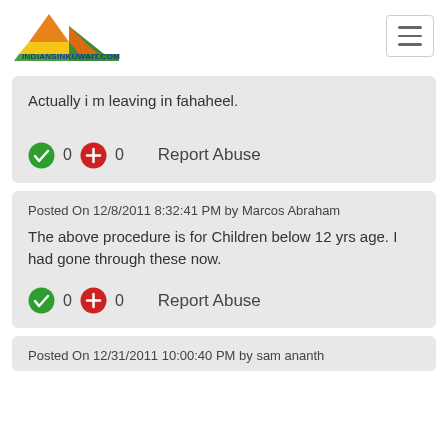[Figure (logo): indiansinkuwait.com logo with mountain/flag shape in orange, yellow, green colors and blue text]
Actually i m leaving in fahaheel.
0  0  Report Abuse
Posted On 12/8/2011 8:32:41 PM by Marcos Abraham
The above procedure is for Children below 12 yrs age. I had gone through these now.
0  0  Report Abuse
Posted On 12/31/2011 10:00:40 PM by sam ananth